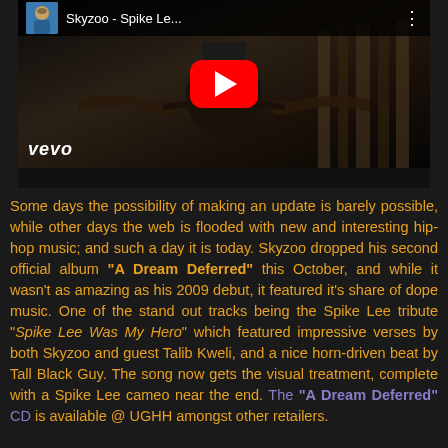[Figure (screenshot): YouTube/Vevo embedded video player showing Skyzoo - Spike Le... with red play button and vevo logo in bottom left, dark background with two hands pointing]
Some days the possibility of making an update is barely possible, while other days the web is flooded with new and interesting hip-hop music; and such a day it is today. Skyzoo dropped his second official album "A Dream Deferred" this October, and while it wasn't as amazing as his 2009 debut, it featured it's share of dope music. One of the stand out tracks being the Spike Lee tribute "Spike Lee Was My Hero" which featured impressive verses by both Skyzoo and guest Talib Kweli, and a nice horn-driven beat by Tall Black Guy. The song now gets the visual treatment, complete with a Spike Lee cameo near the end. The "A Dream Deferred" CD is available @ UGHH amongst other retailers.